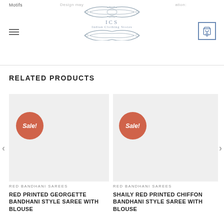Motifs | ICS Indian Clothing Stores | Design may variation
RELATED PRODUCTS
[Figure (photo): Product card with Sale badge - RED PRINTED GEORGETTE BANDHANI STYLE SAREE WITH BLOUSE]
RED BANDHANI SAREES
RED PRINTED GEORGETTE BANDHANI STYLE SAREE WITH BLOUSE
[Figure (photo): Product card with Sale badge - SHAILY RED PRINTED CHIFFON BANDHANI STYLE SAREE WITH BLOUSE]
RED BANDHANI SAREES
SHAILY RED PRINTED CHIFFON BANDHANI STYLE SAREE WITH BLOUSE